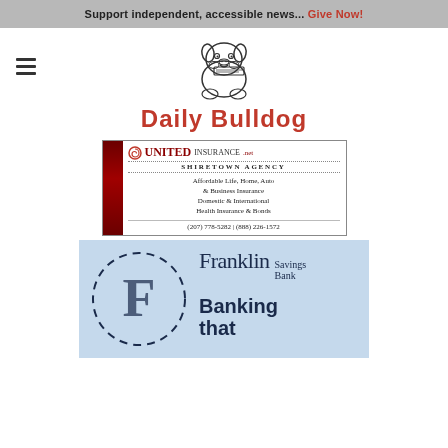Support independent, accessible news... Give Now!
[Figure (logo): Daily Bulldog newspaper logo — bulldog mascot holding a newspaper, with text 'Daily Bulldog' in red below]
[Figure (illustration): United Insurance.net Shiretown Agency advertisement — red bar on left, logo with swirl icon, text: UNITED INSURANCE.net, SHIRETOWN AGENCY, Affordable Life, Home, Auto & Business Insurance, Domestic & International Health Insurance & Bonds, (207) 778-5282 | (888) 226-1572]
[Figure (illustration): Franklin Savings Bank advertisement — light blue background, large F logo with dashed circle, text: Franklin Savings Bank, Banking that]